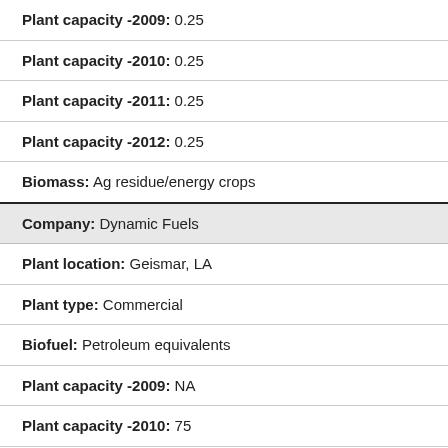| Plant capacity -2009: | 0.25 |
| Plant capacity -2010: | 0.25 |
| Plant capacity -2011: | 0.25 |
| Plant capacity -2012: | 0.25 |
| Biomass: | Ag residue/energy crops |
| Company: | Dynamic Fuels |
| Plant location: | Geismar, LA |
| Plant type: | Commercial |
| Biofuel: | Petroleum equivalents |
| Plant capacity -2009: | NA |
| Plant capacity -2010: | 75 |
| Plant capacity -2011: | 75 |